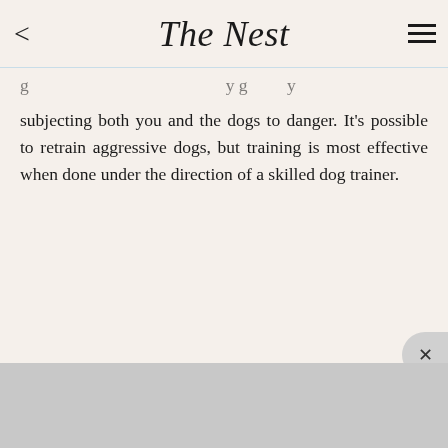The Nest
subjecting both you and the dogs to danger. It's possible to retrain aggressive dogs, but training is most effective when done under the direction of a skilled dog trainer.